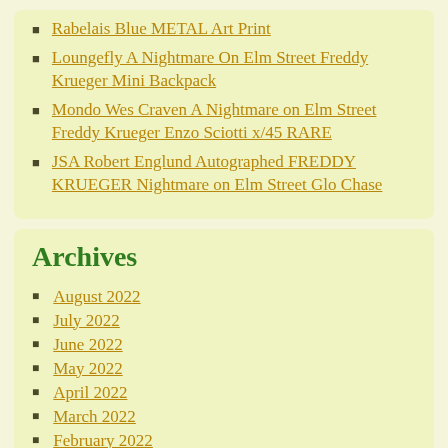Rabelais Blue METAL Art Print
Loungefly A Nightmare On Elm Street Freddy Krueger Mini Backpack
Mondo Wes Craven A Nightmare on Elm Street Freddy Krueger Enzo Sciotti x/45 RARE
JSA Robert Englund Autographed FREDDY KRUEGER Nightmare on Elm Street Glo Chase
Archives
August 2022
July 2022
June 2022
May 2022
April 2022
March 2022
February 2022
January 2022
December 2021